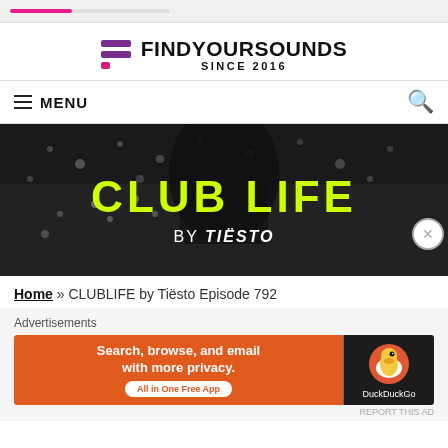FindYourSounds Since 2016
[Figure (screenshot): Website header with FindYourSounds logo (purple bars icon) and text FINDYOURSOUNDS SINCE 2016]
[Figure (photo): Black and white photo of a DJ/performer on stage with large text CLUB LIFE BY TIESTO in yellow and white lettering overlaid]
Home » CLUBLIFE by Tiësto Episode 792
Advertisements
[Figure (screenshot): DuckDuckGo advertisement banner: orange left panel saying Search, browse, and email with more privacy. All in One Free App, black right panel with DuckDuckGo duck logo]